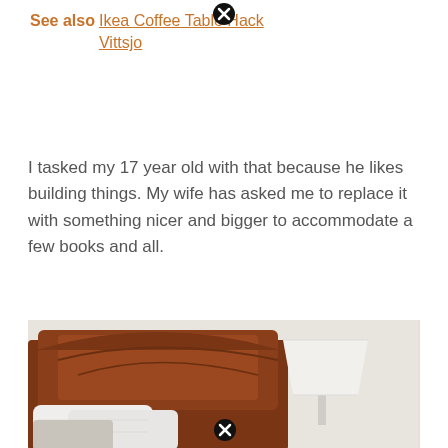See also  Ikea Coffee Table Hack Vittsjo
I tasked my 17 year old with that because he likes building things. My wife has asked me to replace it with something nicer and bigger to accommodate a few books and all.
[Figure (photo): Bedroom scene showing a dark cherry wood headboard with white pillows and a white lamp shade on a bedside table, against a light beige/white wall.]